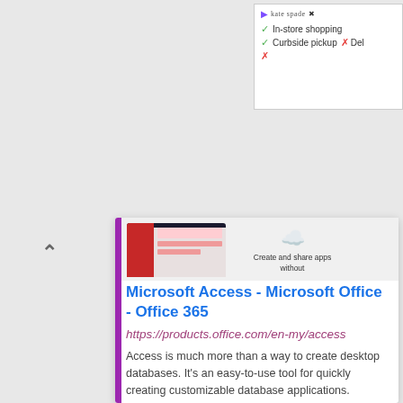[Figure (screenshot): Ad banner for kate spade showing In-store shopping checkmark, Curbside pickup checkmark, and delivery cross mark]
[Figure (screenshot): Microsoft Access product screenshot thumbnail and AppSee cloud icon with 'Create and share apps without' text]
Microsoft Access - Microsoft Office - Office 365
https://products.office.com/en-my/access
Access is much more than a way to create desktop databases. It's an easy-to-use tool for quickly creating customizable database applications.
870,536
Pageviews
US
Top Country
Up